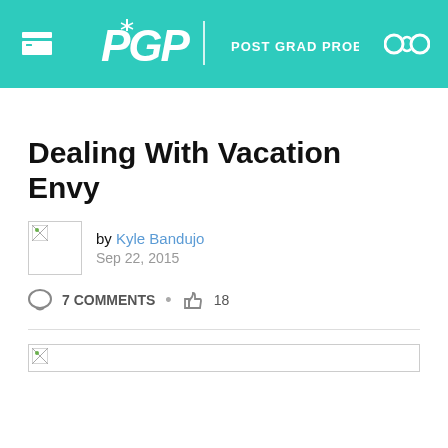PGP | POST GRAD PROBLEMS
Dealing With Vacation Envy
by Kyle Bandujo
Sep 22, 2015
7 COMMENTS • 18
[Figure (photo): Article feature image (broken/loading)]